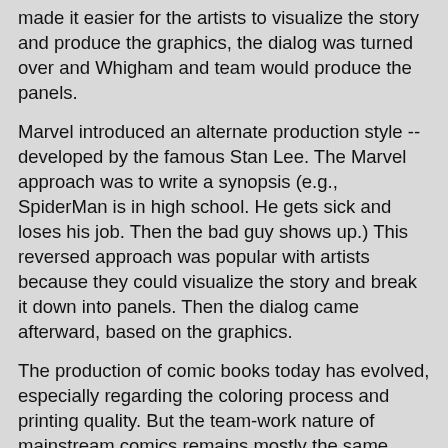made it easier for the artists to visualize the story and produce the graphics, the dialog was turned over and Whigham and team would produce the panels.
Marvel introduced an alternate production style -- developed by the famous Stan Lee. The Marvel approach was to write a synopsis (e.g., SpiderMan is in high school. He gets sick and loses his job. Then the bad guy shows up.) This reversed approach was popular with artists because they could visualize the story and break it down into panels. Then the dialog came afterward, based on the graphics.
The production of comic books today has evolved, especially regarding the coloring process and printing quality. But the team-work nature of mainstream comics remains mostly the same.
Facing growing competition from video games, internal struggles and over expansion, the comic book industry experienced a collapse in the 1990's. To continue working as an artist, Whigham produced commercial art, comps and layouts for advertising. He has always been a film fan and worked towards producing storyboards and concept art for